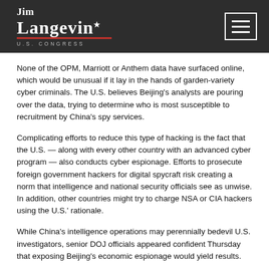Jim Langevin U.S. Congress
None of the OPM, Marriott or Anthem data have surfaced online, which would be unusual if it lay in the hands of garden-variety cyber criminals. The U.S. believes Beijing's analysts are pouring over the data, trying to determine who is most susceptible to recruitment by China's spy services.
Complicating efforts to reduce this type of hacking is the fact that the U.S. — along with every other country with an advanced cyber program — also conducts cyber espionage. Efforts to prosecute foreign government hackers for digital spycraft risk creating a norm that intelligence and national security officials see as unwise. In addition, other countries might try to charge NSA or CIA hackers using the U.S.' rationale.
While China's intelligence operations may perennially bedevil U.S. investigators, senior DOJ officials appeared confident Thursday that exposing Beijing's economic espionage would yield results.